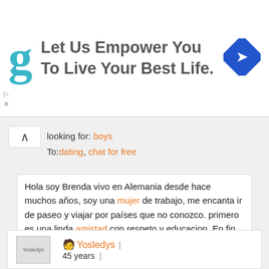[Figure (infographic): Advertisement banner with teal 'g' logo, text 'Let Us Empower You To Live Your Best Life.' and a blue diamond navigation icon on the right]
looking for: boys
To:dating, chat for free
Hola soy Brenda vivo en Alemania desde hace muchos años, soy una mujer de trabajo, me encanta ir de paseo y viajar por países que no conozco. primero es una linda amistad con respeto y educacion. En fin solo para una linda amistad con mujeres y hombres, para compartir momentos lindos dentro de una amistad y me gustaria tener de distintos lugares de todo el mundo,.
[Figure (photo): Yosledys profile photo placeholder]
🧑 Yosledys | 45 years |